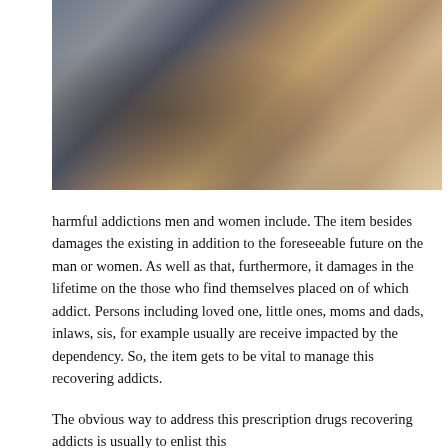[Figure (photo): Two young women sitting together outdoors. One has short dark hair and wears a denim jacket, the other has long reddish-brown hair and wears a sleeveless top. Background appears to be a stone or rock surface.]
harmful addictions men and women include. The item besides damages the existing in addition to the foreseeable future on the man or women. As well as that, furthermore, it damages in the lifetime on the those who find themselves placed on of which addict. Persons including loved one, little ones, moms and dads, inlaws, sis, for example usually are receive impacted by the dependency. So, the item gets to be vital to manage this recovering addicts.
The obvious way to address this prescription drugs recovering addicts is usually to enlist this